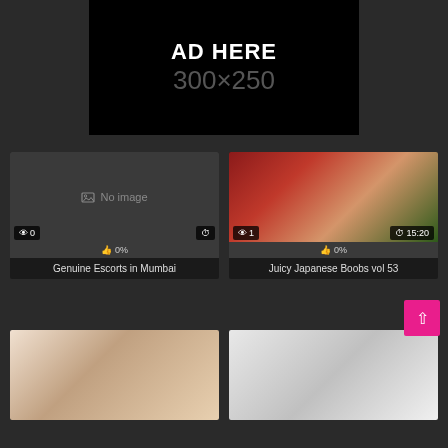[Figure (other): Advertisement placeholder banner showing 'AD HERE 300x250' in black background]
[Figure (other): Video thumbnail card showing 'No image' placeholder with 0 views and 0% likes. Title: Genuine Escorts in Mumbai]
Genuine Escorts in Mumbai
[Figure (photo): Video thumbnail showing Japanese adult content, 1 view, duration 15:20, 0% likes. Title: Juicy Japanese Boobs vol 53]
Juicy Japanese Boobs vol 53
[Figure (photo): Video thumbnail showing two people, bottom row left card]
[Figure (photo): Video thumbnail showing a woman smiling, bottom row right card]